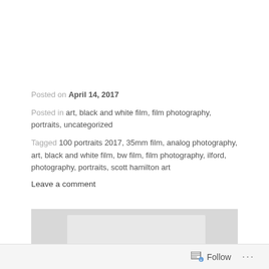Posted on April 14, 2017
Posted in art, black and white film, film photography, portraits, uncategorized
Tagged 100 portraits 2017, 35mm film, analog photography, art, black and white film, bw film, film photography, ilford, photography, portraits, scott hamilton art
Leave a comment
[Figure (photo): Black and white photograph of a shirtless tattooed man lying on a pile of shoes on the floor, smiling at camera]
Follow ...